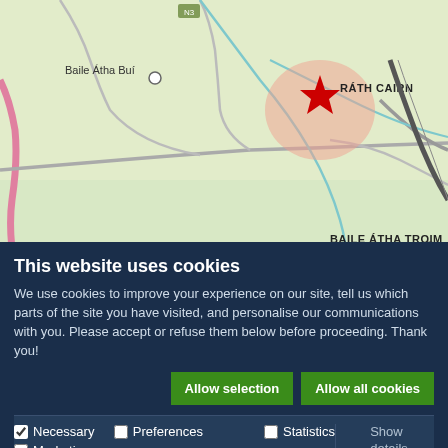[Figure (map): Map showing Gaeltacht regions of Meath, Ireland. Shows Ráth Cairn marked with a red star, Baile Átha Buí with a white circle, and Baile Átha Troim with a white circle. Roads, rivers (blue lines), and terrain are visible.]
Gaeltacht regions of Meath
The Meath Gaeltacht is the smallest Gaeltacht area and consists of two adjacent villages of Ráth Chairn and Baile Ghib. Navan, 8km from Baile Ghib, is the main centre within the region with a population of 20,000+.
This website uses cookies
We use cookies to improve your experience on our site, tell us which parts of the site you have visited, and personalise our communications with you. Please accept or refuse them below before proceeding. Thank you!
Allow selection
Allow all cookies
Necessary (checked), Preferences, Statistics, Marketing, Show details